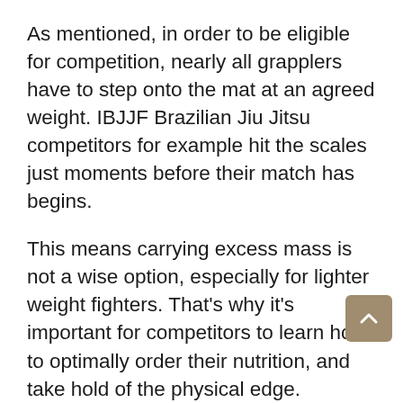As mentioned, in order to be eligible for competition, nearly all grapplers have to step onto the mat at an agreed weight. IBJJF Brazilian Jiu Jitsu competitors for example hit the scales just moments before their match has begins.
This means carrying excess mass is not a wise option, especially for lighter weight fighters. That's why it's important for competitors to learn how to optimally order their nutrition, and take hold of the physical edge.
According to an article posted in the coveted Strength & Conditioning journal; "Grapplers be from increasing lean body mass while minimizing percent body fat to maintain a weight class." To put